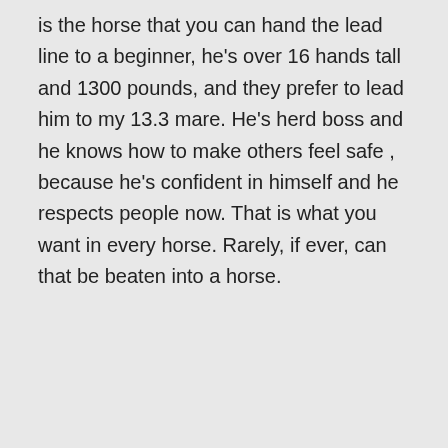is the horse that you can hand the lead line to a beginner, he's over 16 hands tall and 1300 pounds, and they prefer to lead him to my 13.3 mare. He's herd boss and he knows how to make others feel safe , because he's confident in himself and he respects people now. That is what you want in every horse. Rarely, if ever, can that be beaten into a horse.
👍 1 👎 0 ℹ
Privacy & Cookies: This site uses cookies. By continuing to use this website, you agree to their use. To find out more, including how to control cookies, see here: Cookie Policy
Close and accept